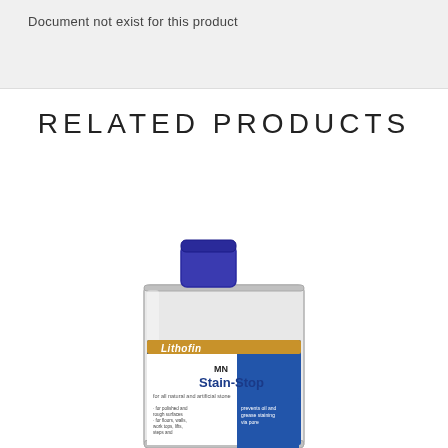Document not exist for this product
RELATED PRODUCTS
[Figure (photo): Product photo of Lithofin MN Stain-Stop bottle, a white metal tin with blue cap and blue/white/gold label, partially cropped at bottom of page]